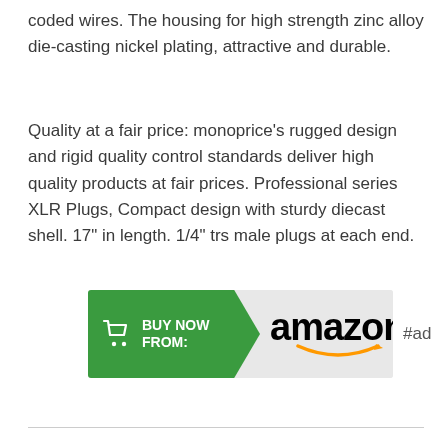coded wires. The housing for high strength zinc alloy die-casting nickel plating, attractive and durable.
Quality at a fair price: monoprice's rugged design and rigid quality control standards deliver high quality products at fair prices. Professional series XLR Plugs, Compact design with sturdy diecast shell. 17" in length. 1/4" trs male plugs at each end.
[Figure (other): Amazon 'Buy Now From' advertisement badge with green arrow-shaped button on left showing shopping cart icon and 'BUY NOW FROM:' text, and Amazon logo with smile on right grey background, followed by '#ad' label]